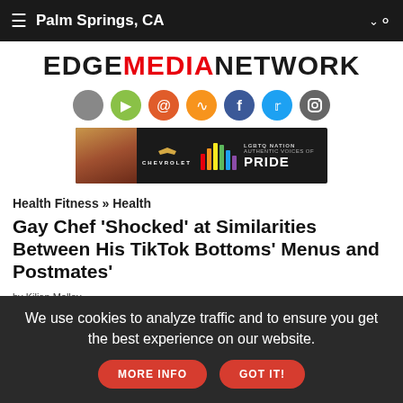Palm Springs, CA
[Figure (logo): EDGE MEDIA NETWORK logo in bold black and red text]
[Figure (infographic): Row of social media icon circles: Apple, Android, Email, RSS, Facebook, Twitter, Instagram]
[Figure (infographic): Chevrolet advertisement banner: LGBTQ Nation Authentic Voices of Pride]
Health Fitness » Health
Gay Chef 'Shocked' at Similarities Between His TikTok Bottoms' Menus and Postmates'
by Kilian Melloy
EDGE Staff Reporter
Thursday June 16, 2022
We use cookies to analyze traffic and to ensure you get the best experience on our website.  MORE INFO  GOT IT!